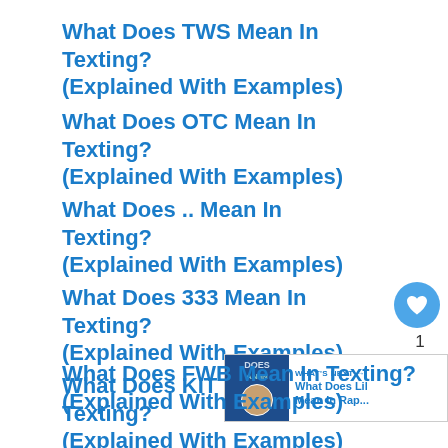What Does TWS Mean In Texting? (Explained With Examples)
What Does OTC Mean In Texting? (Explained With Examples)
What Does .. Mean In Texting? (Explained With Examples)
What Does 333 Mean In Texting? (Explained With Examples)
What Does KIT Mean In Texting? (Explained With Examples)
What Does FWB Mean In Texting? (Explained With Examples)
[Figure (other): Social sharing widget with heart icon showing count of 1 and share button]
[Figure (other): What's Next banner: What Does Lil Mean In Rap...]